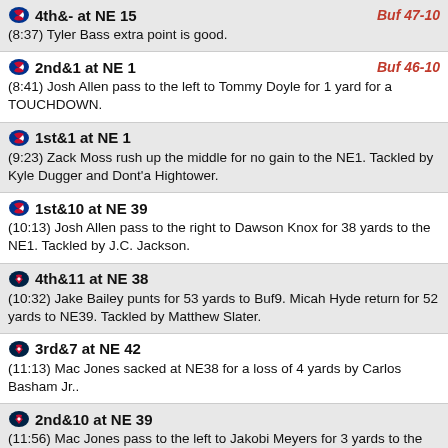4th&- at NE 15 | Buf 47-10
(8:37) Tyler Bass extra point is good.
2nd&1 at NE 1 | Buf 46-10
(8:41) Josh Allen pass to the left to Tommy Doyle for 1 yard for a TOUCHDOWN.
1st&1 at NE 1
(9:23) Zack Moss rush up the middle for no gain to the NE1. Tackled by Kyle Dugger and Dont'a Hightower.
1st&10 at NE 39
(10:13) Josh Allen pass to the right to Dawson Knox for 38 yards to the NE1. Tackled by J.C. Jackson.
4th&11 at NE 38
(10:32) Jake Bailey punts for 53 yards to Buf9. Micah Hyde return for 52 yards to NE39. Tackled by Matthew Slater.
3rd&7 at NE 42
(11:13) Mac Jones sacked at NE38 for a loss of 4 yards by Carlos Basham Jr..
2nd&10 at NE 39
(11:56) Mac Jones pass to the left to Jakobi Meyers for 3 yards to the NE42. Tackled by Levi Wallace and Tremaine Edmunds.
1st&10 at NE 39
(12:03) Mac Jones incomplete pass to the right intended for Jakob Johnson.